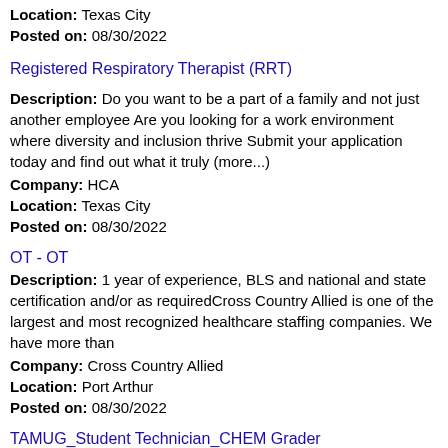Location: Texas City
Posted on: 08/30/2022
Registered Respiratory Therapist (RRT)
Description: Do you want to be a part of a family and not just another employee Are you looking for a work environment where diversity and inclusion thrive Submit your application today and find out what it truly (more...)
Company: HCA
Location: Texas City
Posted on: 08/30/2022
OT - OT
Description: 1 year of experience, BLS and national and state certification and/or as requiredCross Country Allied is one of the largest and most recognized healthcare staffing companies. We have more than
Company: Cross Country Allied
Location: Port Arthur
Posted on: 08/30/2022
TAMUG_Student Technician_CHEM Grader
Description: Job Title TAMUG Student Technician CHEM